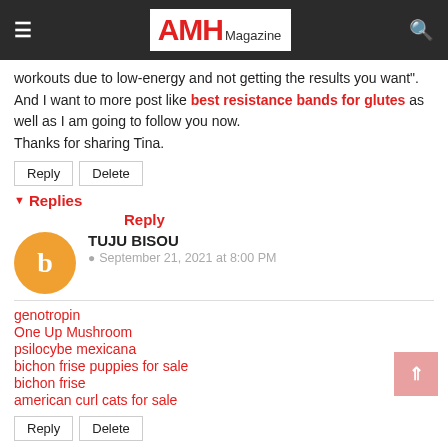AMH Magazine
workouts due to low-energy and not getting the results you want". And I want to more post like best resistance bands for glutes as well as I am going to follow you now. Thanks for sharing Tina.
Reply | Delete
▼ Replies
Reply
TUJU BISOU
September 21, 2021 at 8:00 PM
genotropin
One Up Mushroom
psilocybe mexicana
bichon frise puppies for sale
bichon frise
american curl cats for sale
Reply | Delete
▼ Replies
Reply